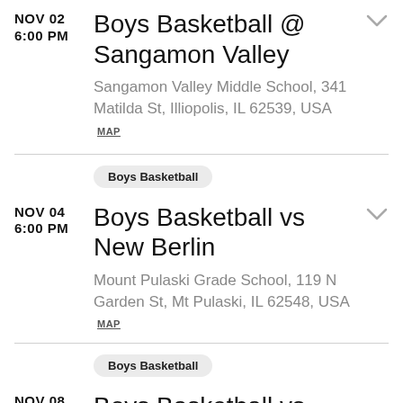NOV 02 6:00 PM Boys Basketball @ Sangamon Valley
Sangamon Valley Middle School, 341 Matilda St, Illiopolis, IL 62539, USA MAP
Boys Basketball
NOV 04 6:00 PM Boys Basketball vs New Berlin
Mount Pulaski Grade School, 119 N Garden St, Mt Pulaski, IL 62548, USA MAP
Boys Basketball
NOV 08 Boys Basketball vs